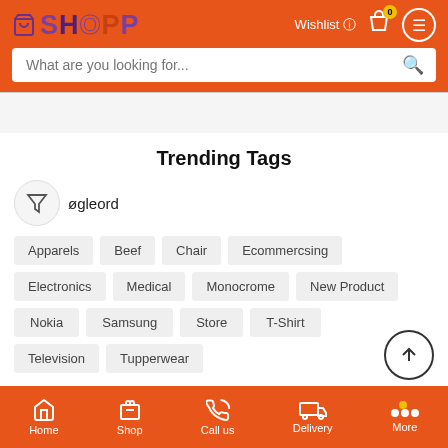SHOPP — Wishlist, Cart, Menu
What are you looking for...
Trending Tags
øgleord
Apparels
Beef
Chair
Ecommercsing
Electronics
Medical
Monocrome
New Product
Nokia
Samsung
Store
T-Shirt
Television
Tupperwear
Home  Shop  Call us  Delivery  More